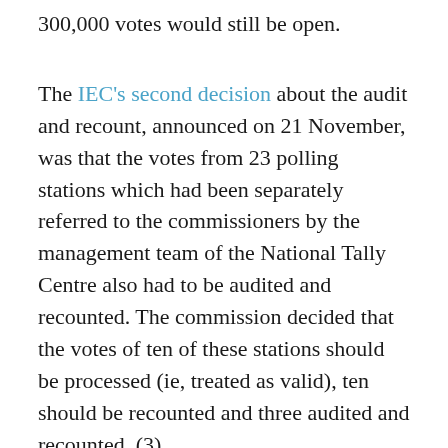300,000 votes would still be open.
The IEC's second decision about the audit and recount, announced on 21 November, was that the votes from 23 polling stations which had been separately referred to the commissioners by the management team of the National Tally Centre also had to be audited and recounted. The commission decided that the votes of ten of these stations should be processed (ie, treated as valid), ten should be recounted and three audited and recounted. (3)
On 5 December, IEC chair Nuristani said at a